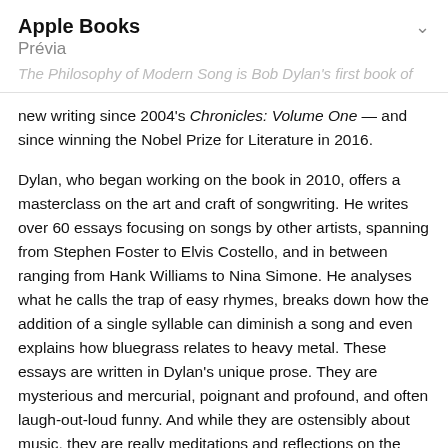Apple Books
Prévia
The Philosophy of Modern Song is Bob Dylan's first book of new writing since 2004's Chronicles: Volume One — and since winning the Nobel Prize for Literature in 2016.
Dylan, who began working on the book in 2010, offers a masterclass on the art and craft of songwriting. He writes over 60 essays focusing on songs by other artists, spanning from Stephen Foster to Elvis Costello, and in between ranging from Hank Williams to Nina Simone. He analyses what he calls the trap of easy rhymes, breaks down how the addition of a single syllable can diminish a song and even explains how bluegrass relates to heavy metal. These essays are written in Dylan's unique prose. They are mysterious and mercurial, poignant and profound, and often laugh-out-loud funny. And while they are ostensibly about music, they are really meditations and reflections on the human condition. Running throughout the book are nearly 150 carefully curated photos as well as a series of dream-like riffs that, taken together, resemble an epic poem and add to the work's transcendence.
In 2020, with the release of his outstanding album Rough and Rowdy Ways, Dylan became the first artist to have an album hit